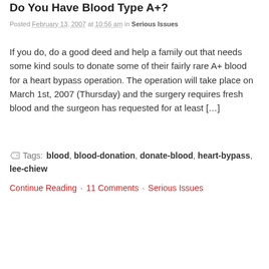Do You Have Blood Type A+?
Posted February 13, 2007 at 10:56 am in Serious Issues
If you do, do a good deed and help a family out that needs some kind souls to donate some of their fairly rare A+ blood for a heart bypass operation. The operation will take place on March 1st, 2007 (Thursday) and the surgery requires fresh blood and the surgeon has requested for at least [...]
Tags: blood, blood-donation, donate-blood, heart-bypass, lee-chiew
Continue Reading · 11 Comments · Serious Issues